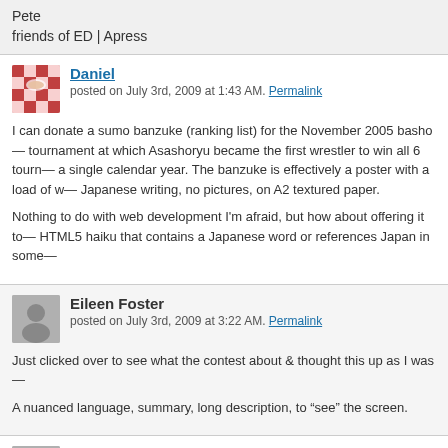Pete
friends of ED | Apress
Daniel
posted on July 3rd, 2009 at 1:43 AM. Permalink
I can donate a sumo banzuke (ranking list) for the November 2005 basho — tournament at which Asashoryu became the first wrestler to win all 6 tourn— a single calendar year. The banzuke is effectively a poster with a load of w— Japanese writing, no pictures, on A2 textured paper.
Nothing to do with web development I'm afraid, but how about offering it to— HTML5 haiku that contains a Japanese word or references Japan in some—
Eileen Foster
posted on July 3rd, 2009 at 3:22 AM. Permalink
Just clicked over to see what the contest about & thought this up as I was—
A nuanced language, summary, long description, to “see” the screen.
Christophe Strobbe
posted on February 15th, 2010 at 7:53 PM. Permalink
For inspiration: WCAG 1.0 in haiku, by Sean Palmer.